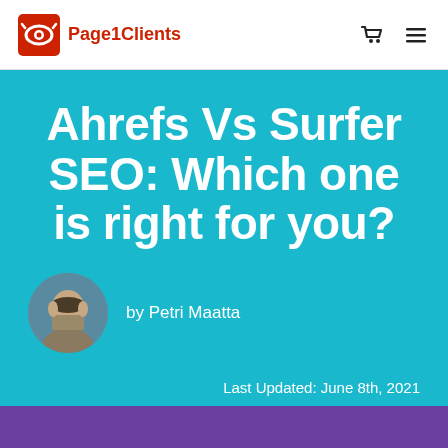Page1Clients
Ahrefs Vs Surfer SEO: Which one is right for you?
by Petri Maatta
Last Updated: June 8th, 2021